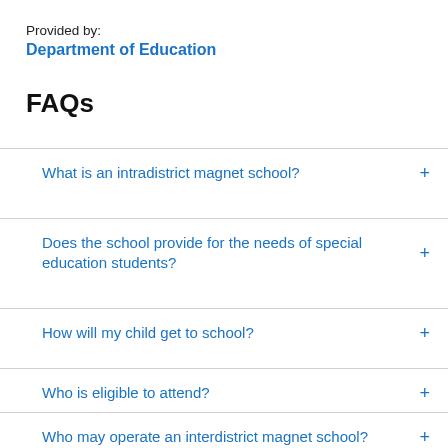Provided by:
Department of Education
FAQs
What is an intradistrict magnet school?
Does the school provide for the needs of special education students?
How will my child get to school?
Who is eligible to attend?
Who may operate an interdistrict magnet school?